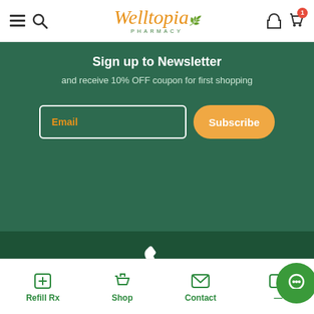[Figure (screenshot): Welltopia Pharmacy website header with hamburger menu, search icon, logo, user icon, and cart icon with badge showing 1]
Sign up to Newsletter
and receive 10% OFF coupon for first shopping
Email
Subscribe
+1 262-429-9429
Refill Rx
Shop
Contact